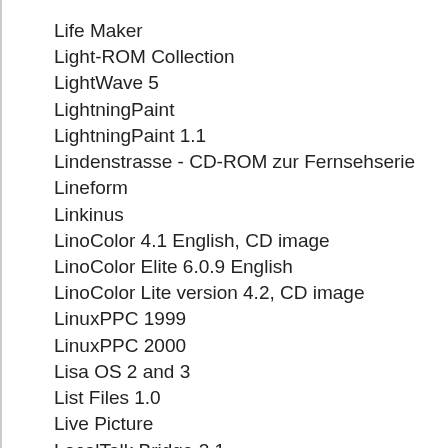Life Maker
Light-ROM Collection
LightWave 5
LightningPaint
LightningPaint 1.1
Lindenstrasse - CD-ROM zur Fernsehserie
Lineform
Linkinus
LinoColor 4.1 English, CD image
LinoColor Elite 6.0.9 English
LinoColor Lite version 4.2, CD image
LinuxPPC 1999
LinuxPPC 2000
Lisa OS 2 and 3
List Files 1.0
Live Picture
LocalTalk Bridge 2.1
Logic Audio Platinum 4.0.4
Logic Audio Platinum 4.7.0